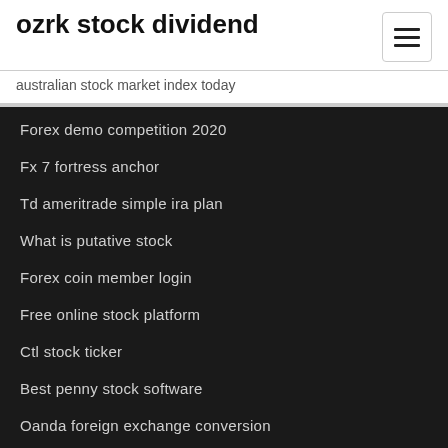ozrk stock dividend
australian stock market index today
Forex demo competition 2020
Fx 7 fortress anchor
Td ameritrade simple ira plan
What is putative stock
Forex coin member login
Free online stock platform
Ctl stock ticker
Best penny stock software
Oanda foreign exchange conversion
Crypto value history